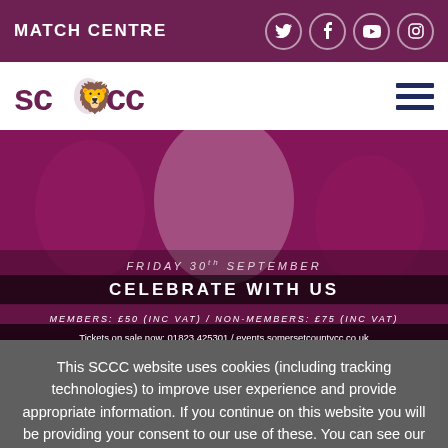MATCH CENTRE
[Figure (logo): SCCC Somerset County Cricket Club logo with lion crest between SC and CC text]
[Figure (photo): Cricket celebration banner: FRIDAY 30th SEPTEMBER - CELEBRATE WITH US - MEMBERS: £50 (INC VAT) / NON-MEMBERS: £75 (INC VAT) - Tickets on sale now: 01823 425301 / events.somersetcountycc.co.uk]
This SCCC website uses cookies (including tracking technologies) to improve user experience and provide appropriate information. If you continue on this website you will be providing your consent to our use of these. You can see our cookies and learn how to manage them.
Find out more
Got it